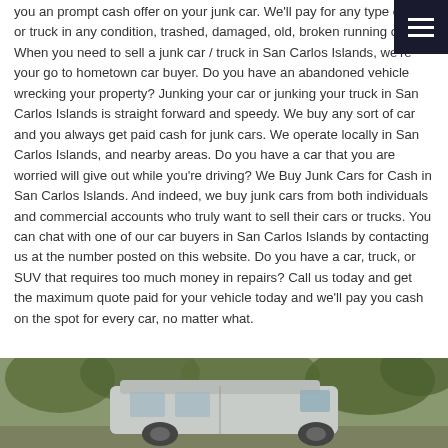you an prompt cash offer on your junk car. We'll pay for any type of car or truck in any condition, trashed, damaged, old, broken running or not. When you need to sell a junk car / truck in San Carlos Islands, we're your go to hometown car buyer. Do you have an abandoned vehicle wrecking your property? Junking your car or junking your truck in San Carlos Islands is straight forward and speedy. We buy any sort of car and you always get paid cash for junk cars. We operate locally in San Carlos Islands, and nearby areas. Do you have a car that you are worried will give out while you're driving? We Buy Junk Cars for Cash in San Carlos Islands. And indeed, we buy junk cars from both individuals and commercial accounts who truly want to sell their cars or trucks. You can chat with one of our car buyers in San Carlos Islands by contacting us at the number posted on this website. Do you have a car, truck, or SUV that requires too much money in repairs? Call us today and get the maximum quote paid for your vehicle today and we'll pay you cash on the spot for every car, no matter what.
[Figure (photo): Photo of a silver/grey van or RV parked under trees, partially visible at the bottom of the page]